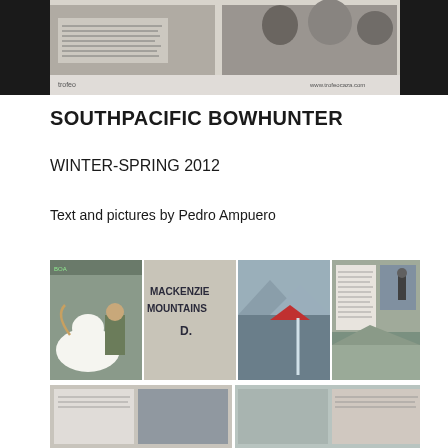[Figure (photo): Top portion showing a scanned magazine page with a photo of people, Spanish text caption about Pedro de Ampuero winning an award, and a webpage URL www.trofeocaza.com at the bottom]
SOUTHPACIFIC BOWHUNTER
WINTER-SPRING 2012
Text and pictures by Pedro Ampuero
[Figure (photo): Magazine spread showing four pages of an article titled MACKENZIE MOUNTAINS with hunting photos including a hunter with a white Dall sheep trophy and mountain landscapes]
[Figure (photo): Bottom strip showing partial view of additional magazine pages with hunting content]